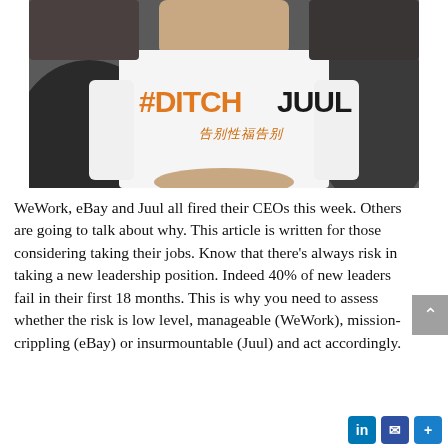[Figure (photo): Person wearing a white t-shirt that reads '#DITCHJUUL' in orange and black text, with additional text below in orange script. The person is seated, hands folded, surrounded by others in dark clothing.]
WeWork, eBay and Juul all fired their CEOs this week. Others are going to talk about why. This article is written for those considering taking their jobs. Know that there's always risk in taking a new leadership position. Indeed 40% of new leaders fail in their first 18 months. This is why you need to assess whether the risk is low level, manageable (WeWork), mission-crippling (eBay) or insurmountable (Juul) and act accordingly.